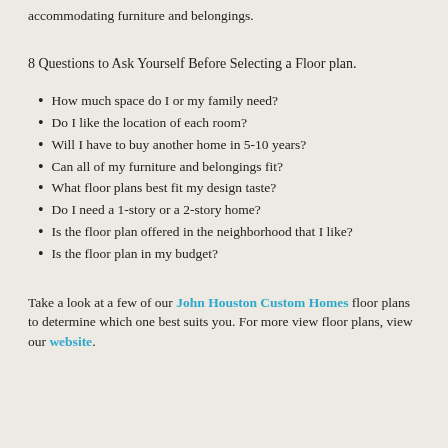accommodating furniture and belongings.
8 Questions to Ask Yourself Before Selecting a Floor plan.
How much space do I or my family need?
Do I like the location of each room?
Will I have to buy another home in 5-10 years?
Can all of my furniture and belongings fit?
What floor plans best fit my design taste?
Do I need a 1-story or a 2-story home?
Is the floor plan offered in the neighborhood that I like?
Is the floor plan in my budget?
Take a look at a few of our John Houston Custom Homes floor plans to determine which one best suits you. For more view floor plans, view our website.